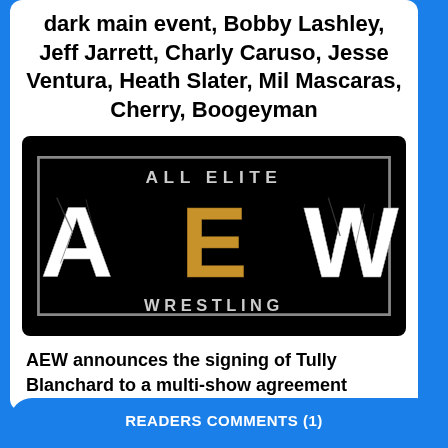dark main event, Bobby Lashley, Jeff Jarrett, Charly Caruso, Jesse Ventura, Heath Slater, Mil Mascaras, Cherry, Boogeyman
[Figure (logo): AEW All Elite Wrestling logo on black background with grey border frame. Large letters A, E, W in white cracked/grunge texture with gold accents. Text 'ALL ELITE' above and 'WRESTLING' below.]
AEW announces the signing of Tully Blanchard to a multi-show agreement
READERS COMMENTS (1)